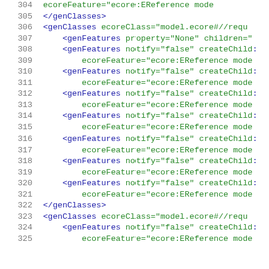Code listing lines 304-325, XML genmodel file with genClasses and genFeatures elements
304     ecoreFeature="ecore:EReference mode
305     </genClasses>
306     <genClasses ecoreClass="model.ecore#//requ
307         <genFeatures property="None" children="
308         <genFeatures notify="false" createChild:
309             ecoreFeature="ecore:EReference mode
310         <genFeatures notify="false" createChild:
311             ecoreFeature="ecore:EReference mode
312         <genFeatures notify="false" createChild:
313             ecoreFeature="ecore:EReference mode
314         <genFeatures notify="false" createChild:
315             ecoreFeature="ecore:EReference mode
316         <genFeatures notify="false" createChild:
317             ecoreFeature="ecore:EReference mode
318         <genFeatures notify="false" createChild:
319             ecoreFeature="ecore:EReference mode
320         <genFeatures notify="false" createChild:
321             ecoreFeature="ecore:EReference mode
322     </genClasses>
323     <genClasses ecoreClass="model.ecore#//requ
324         <genFeatures notify="false" createChild:
325             ecoreFeature="ecore:EReference mode